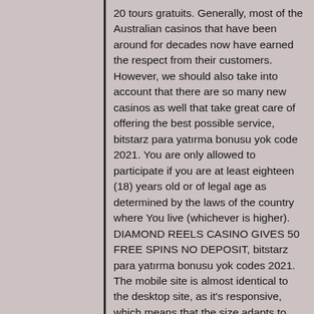20 tours gratuits. Generally, most of the Australian casinos that have been around for decades now have earned the respect from their customers. However, we should also take into account that there are so many new casinos as well that take great care of offering the best possible service, bitstarz para yatırma bonusu yok code 2021. You are only allowed to participate if you are at least eighteen (18) years old or of legal age as determined by the laws of the country where You live (whichever is higher). DIAMOND REELS CASINO GIVES 50 FREE SPINS NO DEPOSIT, bitstarz para yatırma bonusu yok codes 2021. The mobile site is almost identical to the desktop site, as it's responsive, which means that the size adapts to whichever screen you're viewing it from. Not only that, most of the games are available to play on a mobile device, so if you have a mobile device, an Internet